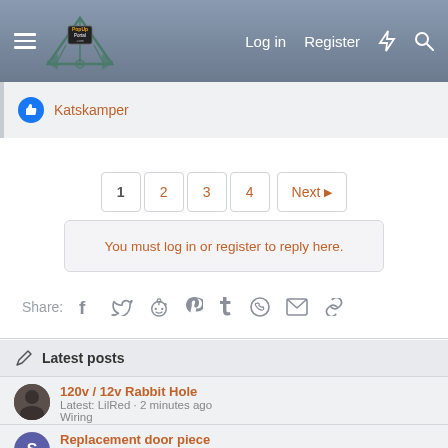PopUpPortal.com - Log in  Register
Katskamper
1  2  3  4  Next
You must log in or register to reply here.
Share:
Latest posts
120v / 12v Rabbit Hole
Latest: LilRed · 2 minutes ago
Wiring
Replacement door piece
Latest: sheldon silva · 3 minutes ago
General Camping Discussion Forum